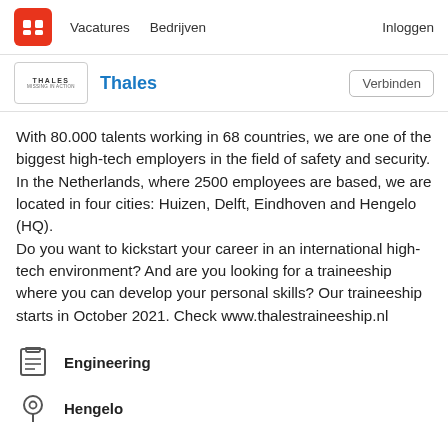Vacatures   Bedrijven   Inloggen
Thales   Verbinden
With 80.000 talents working in 68 countries, we are one of the biggest high-tech employers in the field of safety and security. In the Netherlands, where 2500 employees are based, we are located in four cities: Huizen, Delft, Eindhoven and Hengelo (HQ).
Do you want to kickstart your career in an international high-tech environment? And are you looking for a traineeship where you can develop your personal skills? Our traineeship starts in October 2021. Check www.thalestraineeship.nl
Engineering
Hengelo